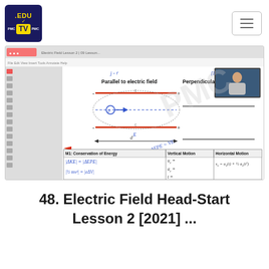[Figure (logo): PMC .EDU TV logo — dark blue square with yellow .EDU text, yellow TV badge, white PMC labels on sides]
[Figure (screenshot): Screenshot of an online physics lesson showing a whiteboard with 'Parallel to electric field' and 'Perpendicular to electric field' diagrams, handwritten equations including |ΔKE|=|ΔEPE|, (1/2)mv²=|eΔV|, ΔEPE=VE, and a table with M1: Conservation of Energy, Vertical Motion, Horizontal Motion columns]
48. Electric Field Head-Start Lesson 2 [2021] ...